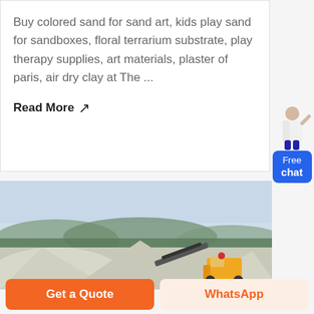Buy colored sand for sand art, kids play sand for sandboxes, floral terrarium substrate, play therapy supplies, art materials, plaster of paris, air dry clay at The ...
Read More →
[Figure (photo): Outdoor photo of large piles of white/grey sand or gravel with a yellow front-loader/bulldozer machine visible in the background, surrounded by green trees and hills under a hazy sky. Industrial sand processing site.]
Get a Quote
WhatsApp